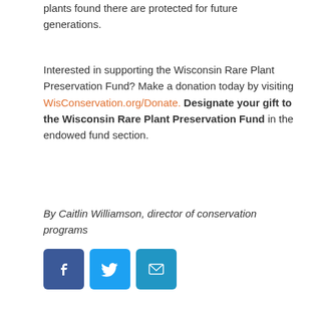plants found there are protected for future generations.
Interested in supporting the Wisconsin Rare Plant Preservation Fund? Make a donation today by visiting WisConservation.org/Donate. Designate your gift to the Wisconsin Rare Plant Preservation Fund in the endowed fund section.
By Caitlin Williamson, director of conservation programs
[Figure (other): Social share buttons: Facebook, Twitter, Email]